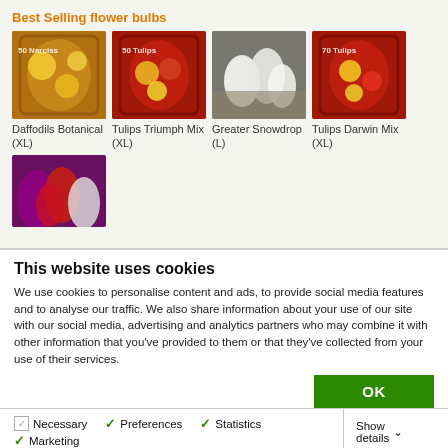Best Selling flower bulbs
[Figure (photo): Daffodils Botanical (XL) - bag of flower bulbs with yellow daffodils]
Daffodils Botanical (XL)
[Figure (photo): Tulips Triumph Mix (XL) - bag of flower bulbs]
Tulips Triumph Mix (XL)
[Figure (photo): Greater Snowdrop (L) - white snowdrop flowers]
Greater Snowdrop (L)
[Figure (photo): Tulips Darwin Mix (XL) - bag of flower bulbs]
Tulips Darwin Mix (XL)
[Figure (photo): Colorful tulips in red, purple and white]
This website uses cookies
We use cookies to personalise content and ads, to provide social media features and to analyse our traffic. We also share information about your use of our site with our social media, advertising and analytics partners who may combine it with other information that you've provided to them or that they've collected from your use of their services.
OK
Necessary   Preferences   Statistics   Marketing   Show details